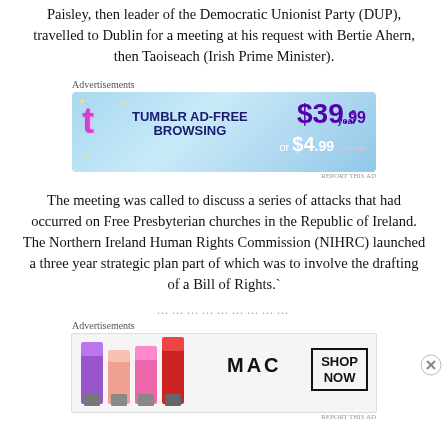Paisley, then leader of the Democratic Unionist Party (DUP), travelled to Dublin for a meeting at his request with Bertie Ahern, then Taoiseach (Irish Prime Minister).
[Figure (screenshot): Tumblr Ad-Free Browsing advertisement banner showing $39.99 a year or $4.99 a month pricing]
The meeting was called to discuss a series of attacks that had occurred on Free Presbyterian churches in the Republic of Ireland. The Northern Ireland Human Rights Commission (NIHRC) launched a three year strategic plan part of which was to involve the drafting of a Bill of Rights.`
……………………………
[Figure (screenshot): MAC cosmetics advertisement showing lipsticks with SHOP NOW button]